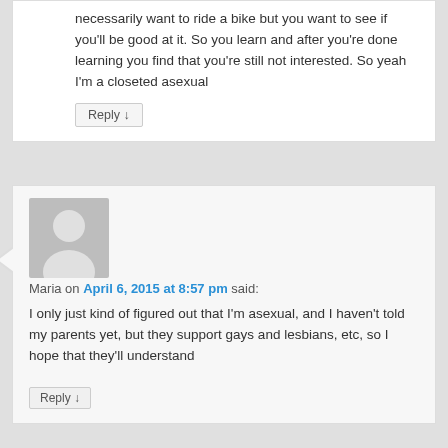necessarily want to ride a bike but you want to see if you'll be good at it. So you learn and after you're done learning you find that you're still not interested. So yeah I'm a closeted asexual
Reply ↓
[Figure (illustration): Generic user avatar placeholder - grey silhouette of a person]
Maria on April 6, 2015 at 8:57 pm said:
I only just kind of figured out that I'm asexual, and I haven't told my parents yet, but they support gays and lesbians, etc, so I hope that they'll understand
Reply ↓